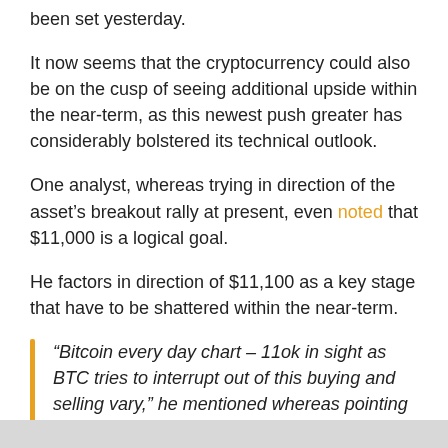been set yesterday.
It now seems that the cryptocurrency could also be on the cusp of seeing additional upside within the near-term, as this newest push greater has considerably bolstered its technical outlook.
One analyst, whereas trying in direction of the asset’s breakout rally at present, even noted that $11,000 is a logical goal.
He factors in direction of $11,100 as a key stage that have to be shattered within the near-term.
“Bitcoin every day chart – 11ok in sight as BTC tries to interrupt out of this buying and selling vary,” he mentioned whereas pointing to the chart seen under.
[Figure (other): Gray bar at the bottom of the page, likely the top of a chart image]